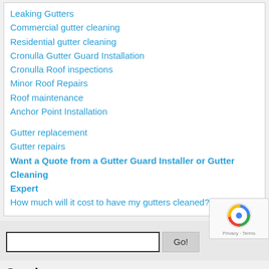Leaking Gutters
Commercial gutter cleaning
Residential gutter cleaning
Cronulla Gutter Guard Installation
Cronulla Roof inspections
Minor Roof Repairs
Roof maintenance
Anchor Point Installation
Gutter replacement
Gutter repairs
Want a Quote from a Gutter Guard Installer or Gutter Cleaning Expert
How much will it cost to have my gutters cleaned?
Services
The Best Ways To Prevent Clogged Gutters